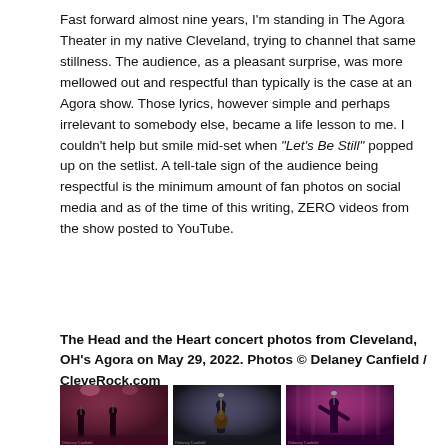Fast forward almost nine years, I'm standing in The Agora Theater in my native Cleveland, trying to channel that same stillness. The audience, as a pleasant surprise, was more mellowed out and respectful than typically is the case at an Agora show. Those lyrics, however simple and perhaps irrelevant to somebody else, became a life lesson to me. I couldn't help but smile mid-set when "Let's Be Still" popped up on the setlist. A tell-tale sign of the audience being respectful is the minimum amount of fan photos on social media and as of the time of this writing, ZERO videos from the show posted to YouTube.
The Head and the Heart concert photos from Cleveland, OH's Agora on May 29, 2022. Photos © Delaney Canfield / CleveRock.com
[Figure (photo): Concert photo 1: performers on stage with pink/red stage lighting]
[Figure (photo): Concert photo 2: guitarist with acoustic guitar on stage]
[Figure (photo): Concert photo 3: performer at microphone with pink/purple stage lighting]